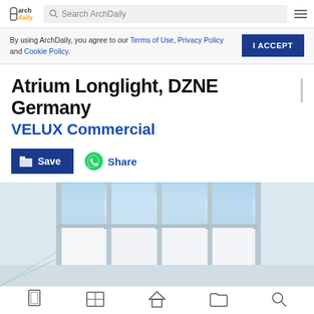ArchDaily — Search ArchDaily
By using ArchDaily, you agree to our Terms of Use, Privacy Policy and Cookie Policy.
Atrium Longlight, DZNE Germany
VELUX Commercial
[Figure (photo): Interior photo of atrium skylight with multiple glass panels and white structural frames against a blue sky.]
Icon bar with navigation icons